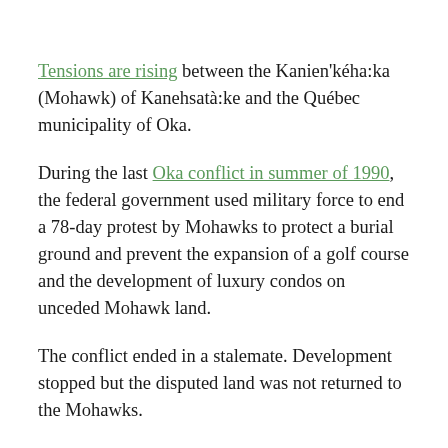Tensions are rising between the Kanien'kéha:ka (Mohawk) of Kanehsatà:ke and the Québec municipality of Oka.
During the last Oka conflict in summer of 1990, the federal government used military force to end a 78-day protest by Mohawks to protect a burial ground and prevent the expansion of a golf course and the development of luxury condos on unceded Mohawk land.
The conflict ended in a stalemate. Development stopped but the disputed land was not returned to the Mohawks.
Now, 29 years later, Mohawks have called on Prime Minister Justin Trudeau and the government of Canada to